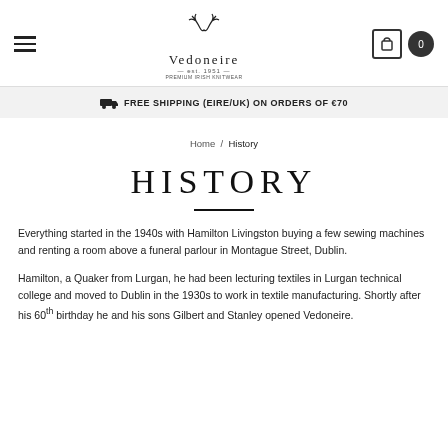Vedoneire — navigation bar with hamburger menu and cart/user icons
🚚  FREE SHIPPING (EIRE/UK) ON ORDERS OF €70
Home / History
HISTORY
Everything started in the 1940s with Hamilton Livingston buying a few sewing machines and renting a room above a funeral parlour in Montague Street, Dublin.
Hamilton, a Quaker from Lurgan, he had been lecturing textiles in Lurgan technical college and moved to Dublin in the 1930s to work in textile manufacturing. Shortly after his 60th birthday he and his sons Gilbert and Stanley opened Vedoneire.